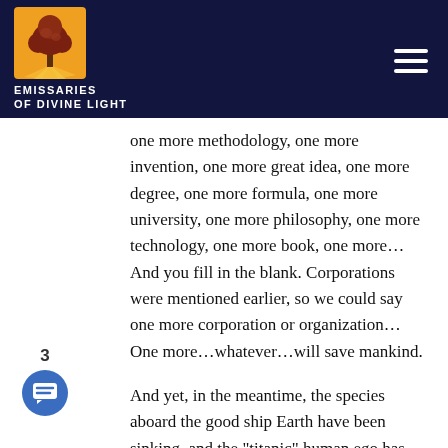[Figure (logo): Emissaries of Divine Light logo: orange square with tree, white text on dark blue header background]
one more methodology, one more invention, one more great idea, one more degree, one more formula, one more university, one more philosophy, one more technology, one more book, one more… And you fill in the blank. Corporations were mentioned earlier, so we could say one more corporation or organization… One more…whatever…will save mankind.

And yet, in the meantime, the species aboard the good ship Earth have been sinking, and the "titanic" human ego has not succeeded using the present paradigm, no matter what the curriculum or the school of thought. None of the classes, degrees,